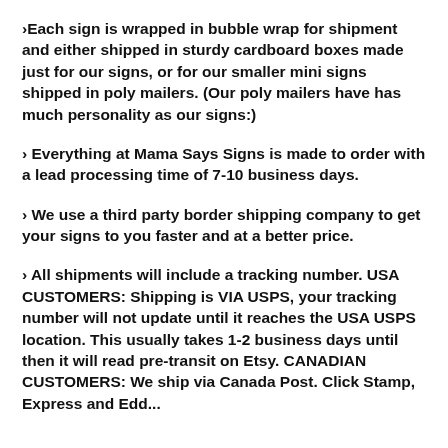>Each sign is wrapped in bubble wrap for shipment and either shipped in sturdy cardboard boxes made just for our signs, or for our smaller mini signs shipped in poly mailers. (Our poly mailers have has much personality as our signs:)
> Everything at Mama Says Signs is made to order with a lead processing time of 7-10 business days.
> We use a third party border shipping company to get your signs to you faster and at a better price.
> All shipments will include a tracking number. USA CUSTOMERS: Shipping is VIA USPS, your tracking number will not update until it reaches the USA USPS location. This usually takes 1-2 business days until then it will read pre-transit on Etsy. CANADIAN CUSTOMERS: We ship via Canada Post. Click Stamp, Express and Edd...